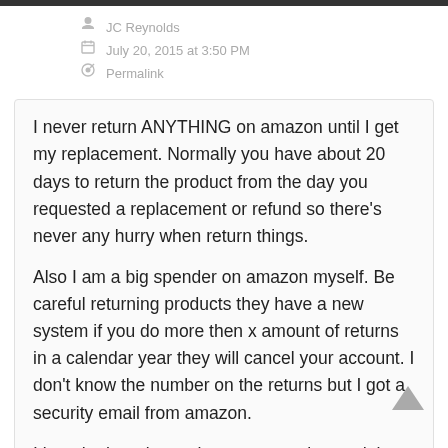JC Reynolds
July 20, 2015 at 3:50 PM
Permalink
I never return ANYTHING on amazon until I get my replacement. Normally you have about 20 days to return the product from the day you requested a replacement or refund so there’s never any hurry when return things.

Also I am a big spender on amazon myself. Be careful returning products they have a new system if you do more then x amount of returns in a calendar year they will cancel your account. I don’t know the number on the returns but I got a security email from amazon.

I bought three items that went together and they didn’t work for what I wanted and after returning